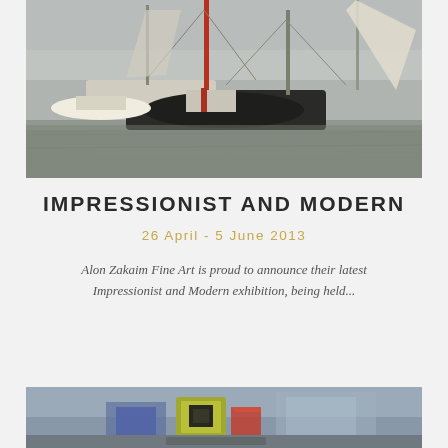[Figure (photo): Painting of sailboats and sailing vessels docked in a harbor, rendered in impressionist style with muted grays, greens, and browns. Masts and rigging visible against a cloudy sky.]
IMPRESSIONIST AND MODERN
26 April - 5 June 2013
Alon Zakaim Fine Art is proud to announce their latest Impressionist and Modern exhibition, being held...
[Figure (photo): Partial view of another painting, showing a colorful modernist or cubist style artwork with geometric shapes in blue, yellow, and red tones.]